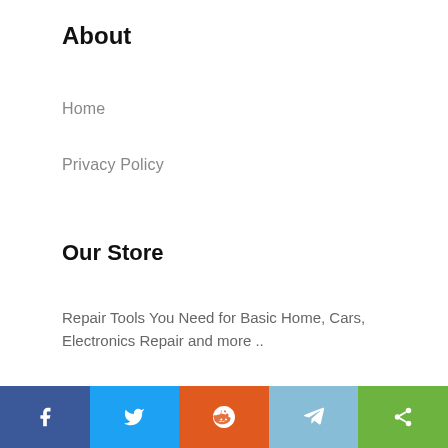About
Home
Privacy Policy
Our Store
Repair Tools You Need for Basic Home, Cars, Electronics Repair and more ..
[Figure (logo): Circular icon with crossed wrench and screwdriver tools in pink/yellow on white background with dark navy border]
Powered By WordPress | Royal News Magazine
[Figure (infographic): Social media share bar with Facebook, Twitter, Reddit, Telegram, and Share buttons]